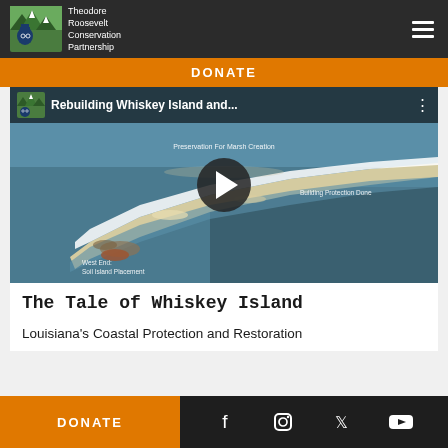Theodore Roosevelt Conservation Partnership
DONATE
[Figure (screenshot): YouTube video thumbnail showing aerial view of Whiskey Island, a narrow barrier island strip with white sand and surrounding dark water. Video title reads 'Rebuilding Whiskey Island and...' with annotations 'Preservation For Marsh Creation', 'Building Protection Done', and 'West End: Soil Island Placement'. A play button is centered on the thumbnail.]
The Tale of Whiskey Island
Louisiana's Coastal Protection and Restoration
DONATE